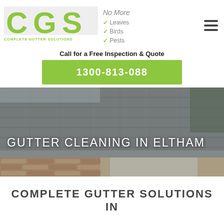[Figure (logo): CGS Complete Gutter Solutions logo with green CGS letters and tagline, alongside 'No More Leaves, Birds, Pests' text with green checkmarks]
Call for a Free Inspection & Quote
1300-813-088
[Figure (photo): Photo of a house roof with gutters, showing concrete tiles and brick wall, hero banner image]
GUTTER CLEANING IN ELTHAM
COMPLETE GUTTER SOLUTIONS IN